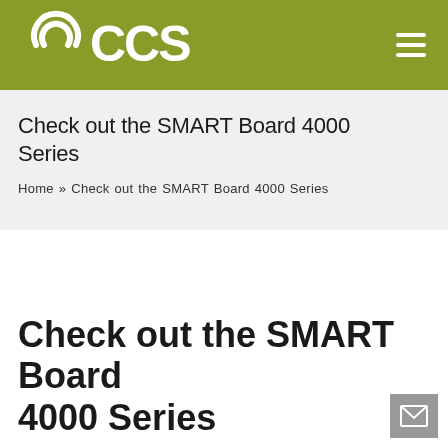CCS
Check out the SMART Board 4000 Series
Home » Check out the SMART Board 4000 Series
Check out the SMART Board 4000 Series